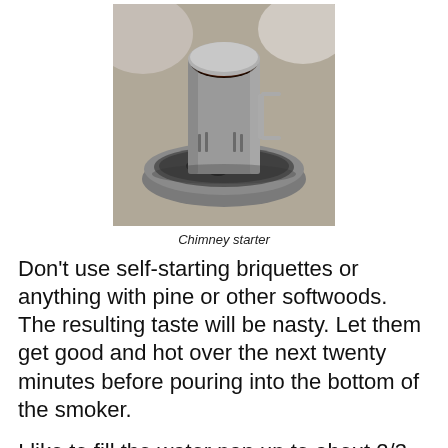[Figure (photo): A chimney starter (metal cylindrical charcoal lighter) sitting in a round metal base with ash and charcoal, outdoors on gravel.]
Chimney starter
Don't use self-starting briquettes or anything with pine or other softwoods. The resulting taste will be nasty. Let them get good and hot over the next twenty minutes before pouring into the bottom of the smoker.
I like to fill the water pan up to about 2/3 full with water, beer, or leftover wine. The idea is that the resulting steam will keep the salmon moist even though it is being cooked by the heat.